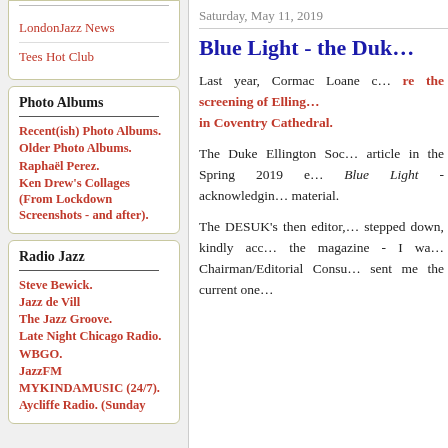LondonJazz News
Tees Hot Club
Photo Albums
Recent(ish) Photo Albums.
Older Photo Albums.
Raphaël Perez.
Ken Drew's Collages (From Lockdown Screenshots - and after).
Radio Jazz
Steve Bewick.
Jazz de Vill
The Jazz Groove.
Late Night Chicago Radio.
WBGO.
JazzFM
MYKINDAMUSIC (24/7).
Aycliffe Radio. (Sunday
Saturday, May 11, 2019
Blue Light - the Duk...
Last year, Cormac Loane c... re the screening of Elling... in Coventry Cathedral.
The Duke Ellington Soc... article in the Spring 2019 e... Blue Light - acknowledging... material.
The DESUK's then editor,... stepped down, kindly acc... the magazine - I wa... Chairman/Editorial Consu... sent me the current one...